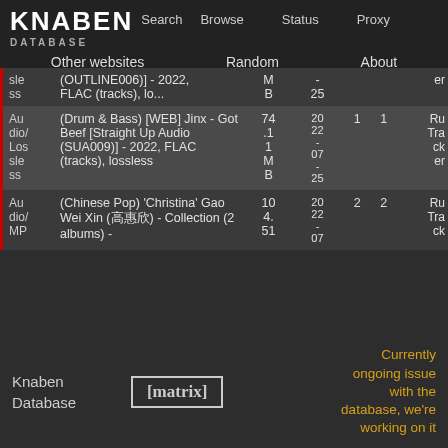KNABEN DATABASE — Search Browse Status Proxy
Other websites   Random   About
| Category | Name | Size | Date | S | L | Source |
| --- | --- | --- | --- | --- | --- | --- |
| sle ss | (OUTLINE006)] - 2022, FLAC (tracks), lo... | M B | - 25 |  |  | er |
| Au dio/ Los sle ss | (Drum & Bass) [WEB] Jinx - Got Beef [Straight Up Audio (SUA009)] - 2022, FLAC (tracks), lossless | 74.1 1 M B | 20 22 - 07 - 25 | 1 | 1 | Ru Tra ck er |
| Au dio/ MP | (Chinese Pop) 'Christina' Gao Wei Xin (高惠欣) - Collection (2 albums) - | 10 4. 51 | 20 22 - 07 | 2 | 2 | Ru Tra ck |
Knaben Database
[matrix]
Currently ongoing issue with the database, we're working on it